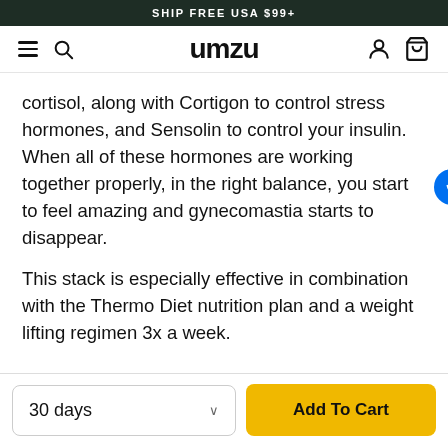SHIP FREE USA $99+
[Figure (logo): UMZU website navigation bar with hamburger menu, search icon, UMZU logo, user account icon, and cart icon]
cortisol, along with Cortigon to control stress hormones, and Sensolin to control your insulin. When all of these hormones are working together properly, in the right balance, you start to feel amazing and gynecomastia starts to disappear.
This stack is especially effective in combination with the Thermo Diet nutrition plan and a weight lifting regimen 3x a week.
30 days
Add To Cart